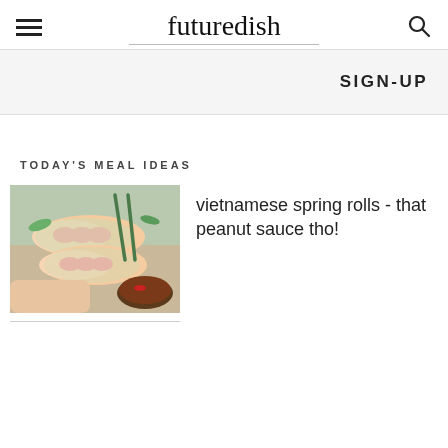futuredish
SIGN-UP
TODAY'S MEAL IDEAS
[Figure (photo): Vietnamese spring rolls held in a hand with chopsticks and a dipping sauce bowl nearby]
vietnamese spring rolls - that peanut sauce tho!